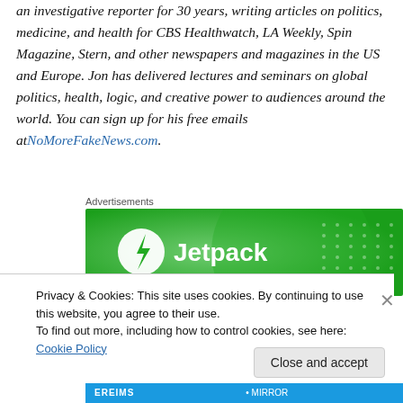an investigative reporter for 30 years, writing articles on politics, medicine, and health for CBS Healthwatch, LA Weekly, Spin Magazine, Stern, and other newspapers and magazines in the US and Europe. Jon has delivered lectures and seminars on global politics, health, logic, and creative power to audiences around the world. You can sign up for his free emails at NoMoreFakeNews.com.
Advertisements
[Figure (other): Jetpack advertisement banner with green background and Jetpack logo]
Privacy & Cookies: This site uses cookies. By continuing to use this website, you agree to their use. To find out more, including how to control cookies, see here: Cookie Policy
Close and accept